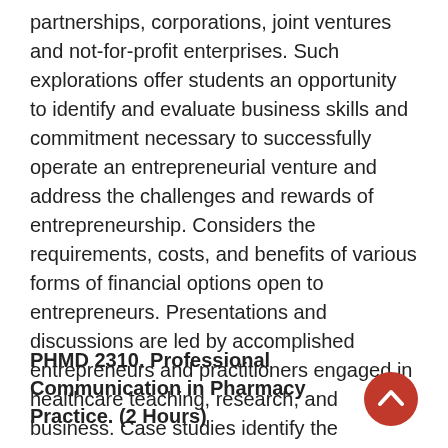partnerships, corporations, joint ventures and not-for-profit enterprises. Such explorations offer students an opportunity to identify and evaluate business skills and commitment necessary to successfully operate an entrepreneurial venture and address the challenges and rewards of entrepreneurship. Considers the requirements, costs, and benefits of various forms of financial options open to entrepreneurs. Presentations and discussions are led by accomplished entrepreneurs and practitioners engaged in healthcare teaching, research, and business. Case studies identify the challenges and rewards of successful entrepreneurial ventures that set positive examples for budding entrepreneurs in leading change and innovation.
PHMD 2310. Professional Communication in Pharmacy Practice. (2 Hours)